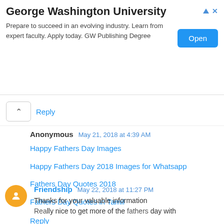[Figure (other): Advertisement banner for George Washington University with 'Open' button]
Reply
Anonymous May 21, 2018 at 4:39 AM
Happy Fathers Day Images
Happy Fathers Day 2018 Images for Whatsapp
Fathers Day Quotes 2018
Fathers Day Quotes in Tamil
Reply
Friendship May 22, 2018 at 11:27 PM
Thanks for your valuable information